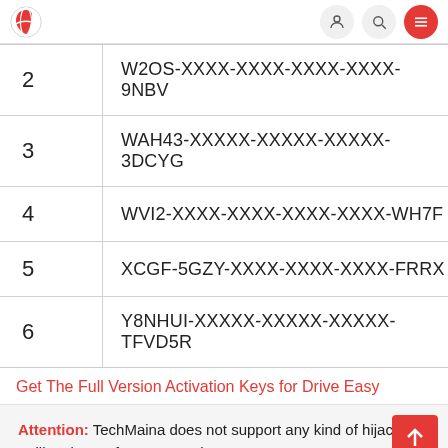TechMaina website header with logo and navigation icons
| # | Key |
| --- | --- |
| 2 | W2OS-XXXX-XXXX-XXXX-XXXX-9NBV |
| 3 | WAH43-XXXXX-XXXXX-XXXXX-3DCYG |
| 4 | WVI2-XXXX-XXXX-XXXX-XXXX-WH7F |
| 5 | XCGF-5GZY-XXXX-XXXX-XXXX-FRRX |
| 6 | Y8NHUI-XXXXX-XXXXX-XXXXX-TFVD5R |
Get The Full Version Activation Keys for Drive Easy
Attention: TechMaina does not support any kind of hijacking or illegal use of accounts. The